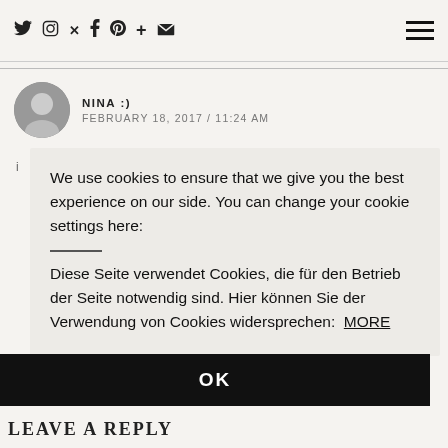Social icons: twitter, instagram, facebook, pinterest, plus, email | hamburger menu
NINA :)
FEBRUARY 18, 2017 / 11:24 AM
We use cookies to ensure that we give you the best experience on our side. You can change your cookie settings here:

Diese Seite verwendet Cookies, die für den Betrieb der Seite notwendig sind. Hier können Sie der Verwendung von Cookies widersprechen: MORE
OK
LEAVE A REPLY